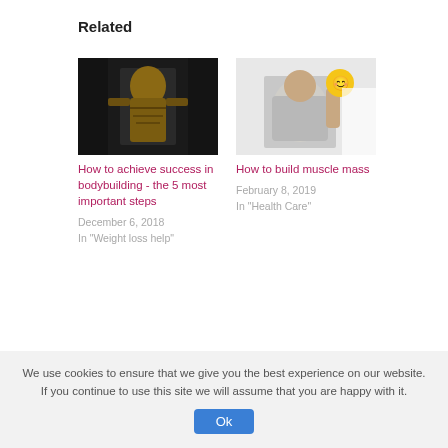Related
[Figure (photo): Muscular shirtless man in dark gym setting]
How to achieve success in bodybuilding - the 5 most important steps
December 6, 2018
In "Weight loss help"
[Figure (photo): Man in grey shirt holding yellow weight ball, white background]
How to build muscle mass
February 8, 2019
In "Health Care"
[Figure (photo): Woman in black sports outfit posing on dark background]
We use cookies to ensure that we give you the best experience on our website. If you continue to use this site we will assume that you are happy with it.